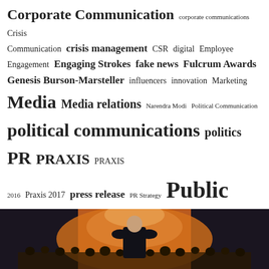[Figure (infographic): Tag cloud containing PR and communications related terms in varying font sizes indicating frequency/importance. Terms include: Corporate Communication, corporate communications, Crisis Communication, crisis management, CSR, digital, Employee Engagement, Engaging Strokes, fake news, Fulcrum Awards, Genesis Burson-Marsteller, influencers, innovation, Marketing, Media, Media relations, Narendra Modi, Political Communication, political communications, politics, PR, PRAXIS, PRAXIS 2016, Praxis 2017, press release, PR Strategy, Public Relations, Reputation, Reputation Management, Reputation Today, Roger Darashah, SCoRe, Shree Lahiri, social media, StartUp, Storytelling, Taking PRide]
[Figure (photo): Photo of a person standing with back to camera facing an audience in a large conference or event hall, warm lighting in background]